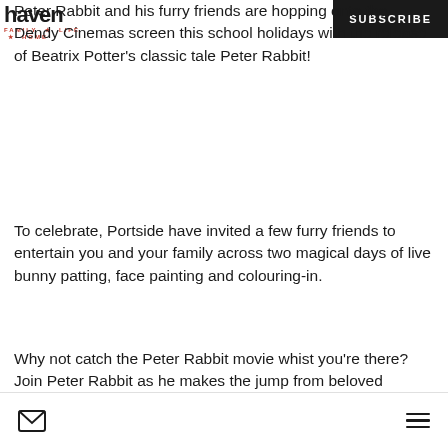haven FAMILY + LIFE + HOME | SUBSCRIBE
Peter Rabbit and his furry friends are hopping onto the Dendy Cinemas screen this school holidays with the release of Beatrix Potter's classic tale Peter Rabbit!
To celebrate, Portside have invited a few furry friends to entertain you and your family across two magical days of live bunny patting, face painting and colouring-in.
Why not catch the Peter Rabbit movie whist you're there? Join Peter Rabbit as he makes the jump from beloved storybook character to the big screen at Dendy Cinemas Portside...
Mail icon | Menu icon